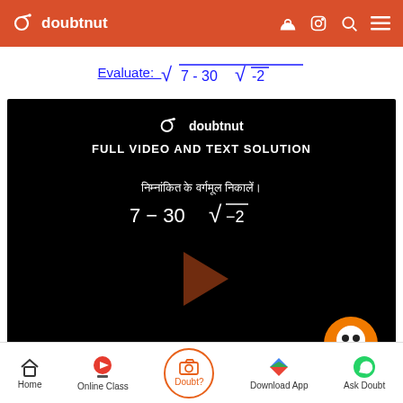doubtnut
Evaluate: √(7 - 30√(-2))
[Figure (screenshot): Doubtnut video thumbnail showing 'FULL VIDEO AND TEXT SOLUTION' with Hindi text 'निम्नांकित के वर्गमूल निकालें।' and formula 7 − 30√−2, with a play button and mascot logo, and www.doubtnut.com at bottom]
127319835   200   8.0 K   5:46
Home   Online Class   Doubt?   Download App   Ask Doubt